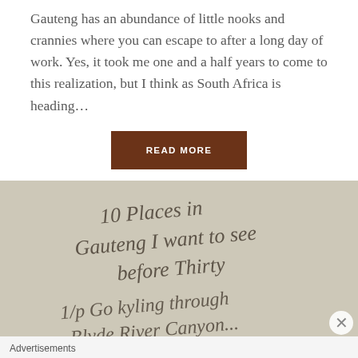Gauteng has an abundance of little nooks and crannies where you can escape to after a long day of work. Yes, it took me one and a half years to come to this realization, but I think as South Africa is heading...
READ MORE
[Figure (photo): Handwritten note on aged paper reading '10 Places in Gauteng I want to see before Thirty' and '1/p Go kyling through Blyde River Canyon...']
Advertisements
[Figure (other): Longreads advertisement banner with red background. Logo circle with L, text: The best stories on the web — ours, and everyone else's.]